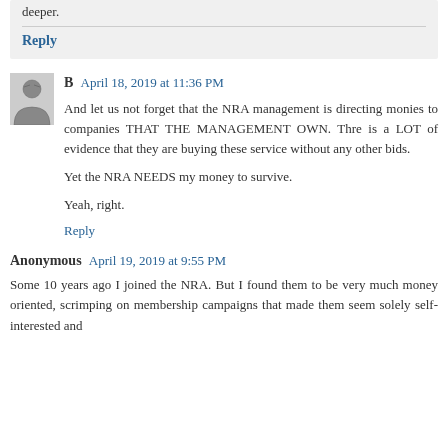deeper.
Reply
B   April 18, 2019 at 11:36 PM
And let us not forget that the NRA management is directing monies to companies THAT THE MANAGEMENT OWN. Thre is a LOT of evidence that they are buying these service without any other bids.

Yet the NRA NEEDS my money to survive.

Yeah, right.
Reply
Anonymous   April 19, 2019 at 9:55 PM
Some 10 years ago I joined the NRA. But I found them to be very much money oriented, scrimping on membership campaigns that made them seem solely self-interested and